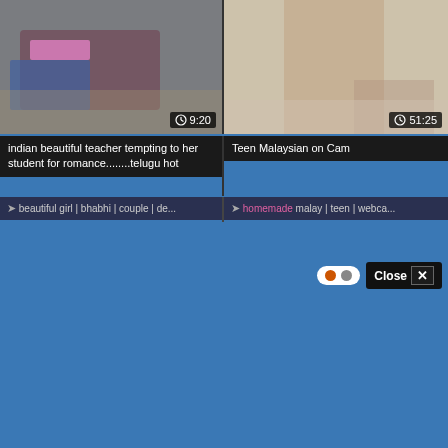[Figure (screenshot): Video thumbnail left: person lying on floor, colorful clothing, duration badge 9:20]
[Figure (screenshot): Video thumbnail right: person on bed, duration badge 51:25]
indian beautiful teacher tempting to her student for romance........telugu hot
Teen Malaysian on Cam
➤ beautiful girl | bhabhi | couple | de...
➤ homemade malay | teen | webca...
Close ✕